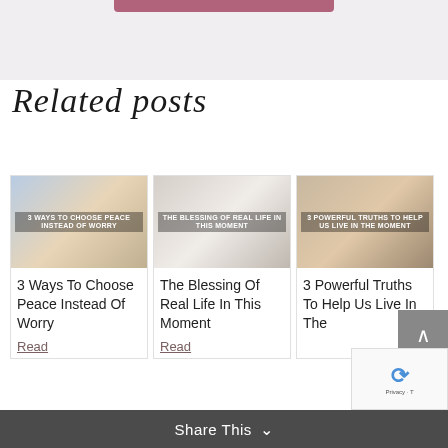Related posts
[Figure (photo): Blog post thumbnail: woman at beach with text '3 Ways To Choose Peace Instead Of Worry']
3 Ways To Choose Peace Instead Of Worry
Read
[Figure (photo): Blog post thumbnail: person at desk with text 'The Blessing Of Real Life In This Moment']
The Blessing Of Real Life In This Moment
Read
[Figure (photo): Blog post thumbnail: person with watch with text '3 Powerful Truths To Help Us Live In The']
3 Powerful Truths To Help Us Live In The
Share This